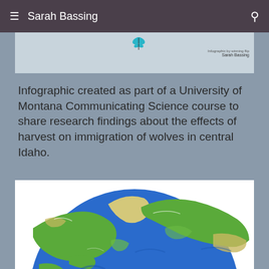Sarah Bassing
[Figure (illustration): Partial view of an infographic with a butterfly icon and 'Sarah Bassing' watermark text in the top right corner]
Infographic created as part of a University of Montana Communicating Science course to share research findings about the effects of harvest on immigration of wolves in central Idaho.
[Figure (illustration): Illustrated globe showing North America and surrounding areas in blue ocean and green/tan landmasses, partially cropped at bottom]